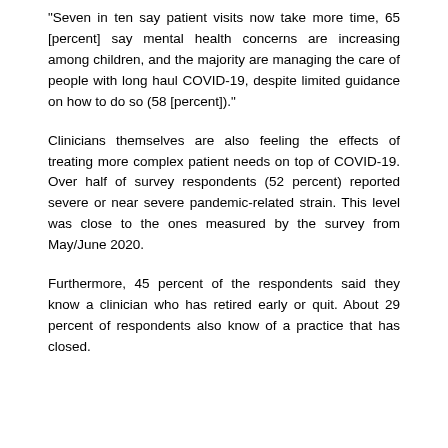“Seven in ten say patient visits now take more time, 65 [percent] say mental health concerns are increasing among children, and the majority are managing the care of people with long haul COVID-19, despite limited guidance on how to do so (58 [percent]).”
Clinicians themselves are also feeling the effects of treating more complex patient needs on top of COVID-19. Over half of survey respondents (52 percent) reported severe or near severe pandemic-related strain. This level was close to the ones measured by the survey from May/June 2020.
Furthermore, 45 percent of the respondents said they know a clinician who has retired early or quit. About 29 percent of respondents also know of a practice that has closed.